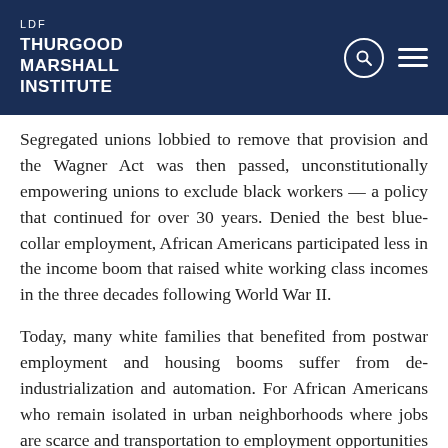LDF THURGOOD MARSHALL INSTITUTE
Segregated unions lobbied to remove that provision and the Wagner Act was then passed, unconstitutionally empowering unions to exclude black workers — a policy that continued for over 30 years. Denied the best blue-collar employment, African Americans participated less in the income boom that raised white working class incomes in the three decades following World War II.
Today, many white families that benefited from postwar employment and housing booms suffer from de-industrialization and automation. For African Americans who remain isolated in urban neighborhoods where jobs are scarce and transportation to employment opportunities is lacking, the suffering is exacerbated.
Better mindsets can't fix this legacy of unconstitutional race policy. But a Secretary of Housing and Urban Development concerned with neighborhood…